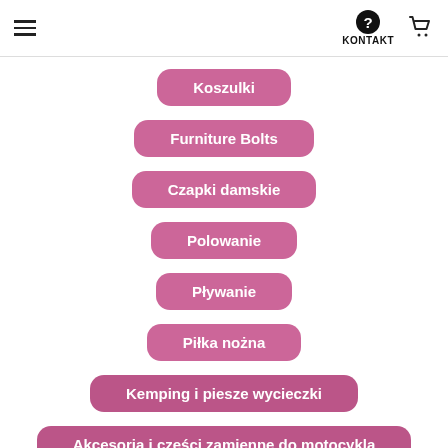KONTAKT
Koszulki
Furniture Bolts
Czapki damskie
Polowanie
Pływanie
Piłka nożna
Kemping i piesze wycieczki
Akcesoria i części zamienne do motocykla
Obsługa posta sklepowa